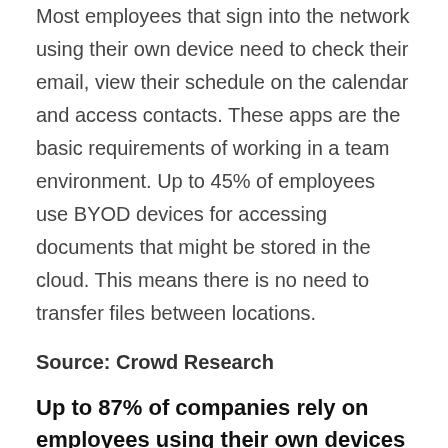Most employees that sign into the network using their own device need to check their email, view their schedule on the calendar and access contacts. These apps are the basic requirements of working in a team environment. Up to 45% of employees use BYOD devices for accessing documents that might be stored in the cloud. This means there is no need to transfer files between locations.
Source: Crowd Research
Up to 87% of companies rely on employees using their own devices to connect to business apps
Business apps are an important part of daily office life and companies prefer if employees were connected at all hours of the day. Therefore, the best approach is to